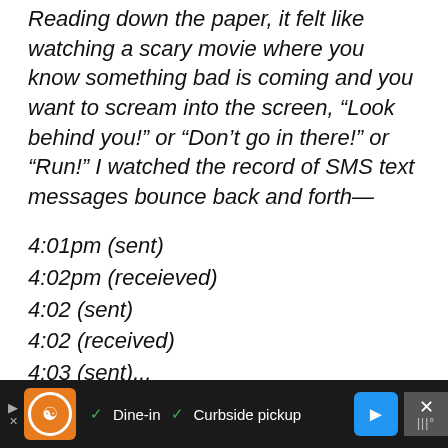Reading down the paper, it felt like watching a scary movie where you know something bad is coming and you want to scream into the screen, “Look behind you!” or “Don’t go in there!” or “Run!” I watched the record of SMS text messages bounce back and forth—
4:01pm (sent)
4:02pm (receieved)
4:02 (sent)
4:02 (received)
4:03 (sent)...
Dine-in  Curbside pickup  [ad bar]